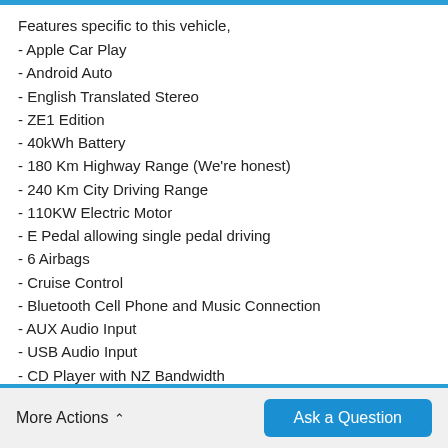Features specific to this vehicle,
- Apple Car Play
- Android Auto
- English Translated Stereo
- ZE1 Edition
- 40kWh Battery
- 180 Km Highway Range (We're honest)
- 240 Km City Driving Range
- 110KW Electric Motor
- E Pedal allowing single pedal driving
- 6 Airbags
- Cruise Control
- Bluetooth Cell Phone and Music Connection
- AUX Audio Input
- USB Audio Input
- CD Player with NZ Bandwidth
- Parking S…
More Actions ∧
Ask a Question